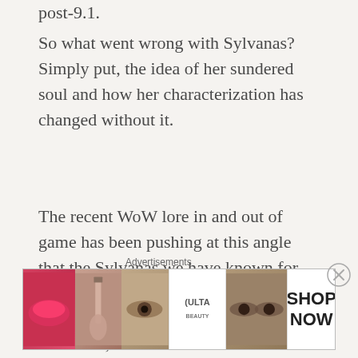post-9.1.
So what went wrong with Sylvanas? Simply put, the idea of her sundered soul and how her characterization has changed without it.
The recent WoW lore in and out of game has been pushing at this angle that the Sylvanas we have known for the entirety of World of Warcraft is not actually the full Sylvanas, but a shade, a fraction, a sliver. Our detestable Banshee Queen is the negative side of Sylvanas, the impure
Advertisements
[Figure (other): Ulta Beauty advertisement banner showing makeup images including lips, brush, eye, Ulta logo, and eyes with SHOP NOW text]